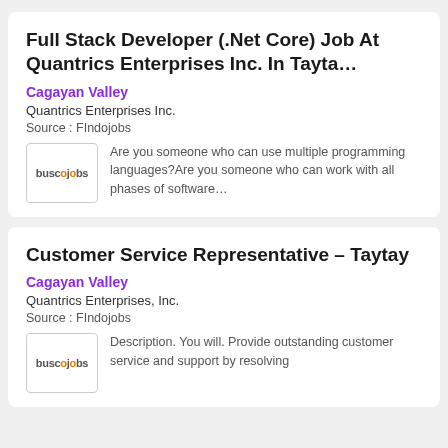Full Stack Developer (.Net Core) Job At Quantrics Enterprises Inc. In Tayta…
Cagayan Valley
Quantrics Enterprises Inc.
Source : FIndojobs
Are you someone who can use multiple programming languages?Are you someone who can work with all phases of software…
Customer Service Representative – Taytay
Cagayan Valley
Quantrics Enterprises, Inc.
Source : FIndojobs
Description. You will. Provide outstanding customer service and support by resolving